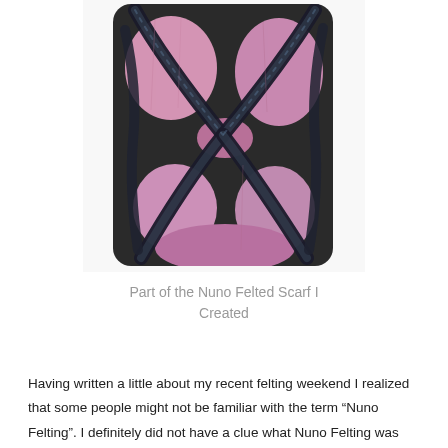[Figure (photo): A close-up photograph of a Nuno felted scarf showing pink fabric with dark charcoal/black irregular felted lines forming an X or hourglass pattern across the textile.]
Part of the Nuno Felted Scarf I Created
Having written a little about my recent felting weekend I realized that some people might not be familiar with the term “Nuno Felting”.  I definitely did not have a clue what Nuno Felting was until this weekend (which was marginally better than my brother who is not familiar with the art of felting and questioned